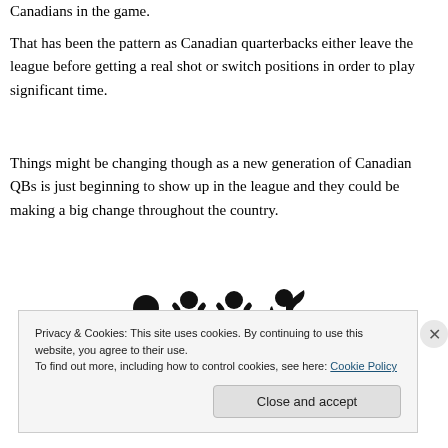Canadians in the game.
That has been the pattern as Canadian quarterbacks either leave the league before getting a real shot or switch positions in order to play significant time.
Things might be changing though as a new generation of Canadian QBs is just beginning to show up in the league and they could be making a big change throughout the country.
[Figure (illustration): Four black silhouette icons of football players in various poses]
Privacy & Cookies: This site uses cookies. By continuing to use this website, you agree to their use.
To find out more, including how to control cookies, see here: Cookie Policy